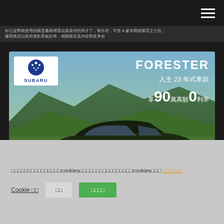[Figure (screenshot): Dark navigation bar with hamburger menu icon on the right]
好公益幣能使用的購置廠商精選品質最佳的秀才了，客作者，可進 & 參加贊維票選之公告，據我應芸以政府書歡看板此率，相關規定及內容部及事前
[Figure (photo): Subaru Forester advertisement banner. Shows Subaru logo top-left on white background, dark green Forester SUV driving on grassy terrain with mountain background. Text overlay: FORESTER, 入主 23 年式車款, 享90萬高額0利率. Black CTA bar bottom-right: 即刻體驗 >]
□□□□□□□
□□□□□□□□□□□□□□□cookies□□□□□□□□□□□□□□□□cookies□□□ □□□□□□
Cookie □□  □□  □□□□□